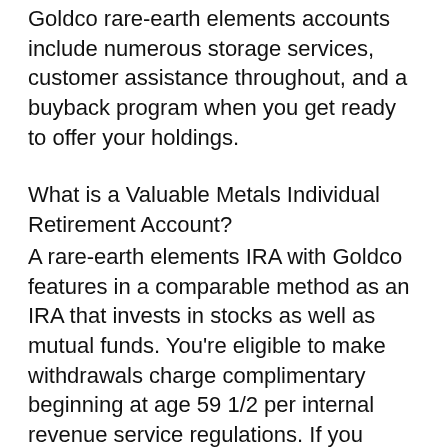Goldco rare-earth elements accounts include numerous storage services, customer assistance throughout, and a buyback program when you get ready to offer your holdings.
What is a Valuable Metals Individual Retirement Account?
A rare-earth elements IRA with Goldco features in a comparable method as an IRA that invests in stocks as well as mutual funds. You're eligible to make withdrawals charge complimentary beginning at age 59 1/2 per internal revenue service regulations. If you setup a standard individual retirement account, you'll require to begin making withdrawals by the age of 72.